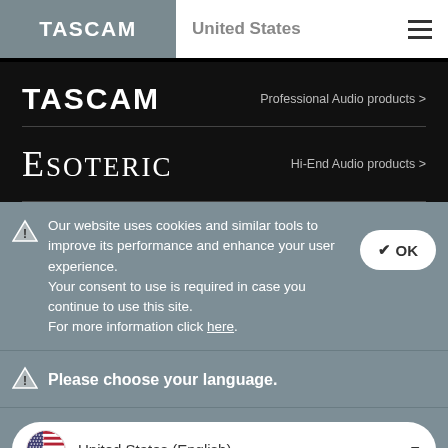TASCAM | United States
[Figure (logo): TASCAM logo in white on gray background]
Professional Audio products >
[Figure (logo): Esoteric logo in white on black background]
Hi-End Audio products >
Our website uses cookies and similar tools to improve its performance and enhance your user experience.
Your consent to use is required in case you continue to use this site.
For more information click here.
Please choose your language.
United States (English)